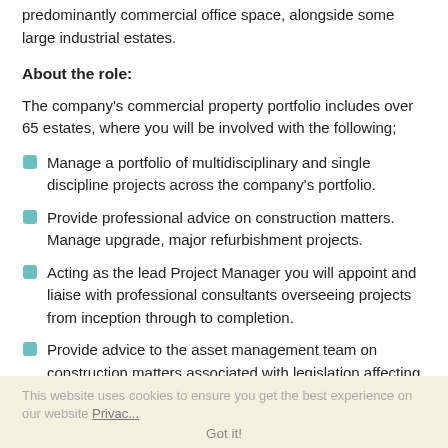predominantly commercial office space, alongside some large industrial estates.
About the role:
The company's commercial property portfolio includes over 65 estates, where you will be involved with the following;
Manage a portfolio of multidisciplinary and single discipline projects across the company's portfolio.
Provide professional advice on construction matters. Manage upgrade, major refurbishment projects.
Acting as the lead Project Manager you will appoint and liaise with professional consultants overseeing projects from inception through to completion.
Provide advice to the asset management team on construction matters associated with legislation affecting the appraisal of upcoming projects.
About you: